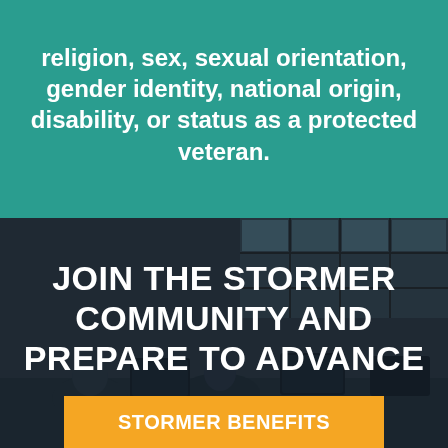religion, sex, sexual orientation, gender identity, national origin, disability, or status as a protected veteran.
[Figure (photo): Darkened photo of office workers at computers in a modern workspace, serving as background for recruitment text]
JOIN THE STORMER COMMUNITY AND PREPARE TO ADVANCE
STORMER BENEFITS